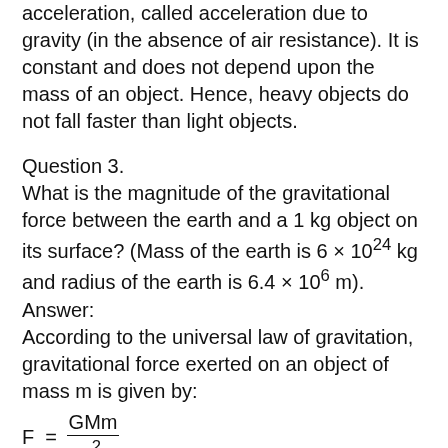acceleration, called acceleration due to gravity (in the absence of air resistance). It is constant and does not depend upon the mass of an object. Hence, heavy objects do not fall faster than light objects.
Question 3.
What is the magnitude of the gravitational force between the earth and a 1 kg object on its surface? (Mass of the earth is 6 × 10²⁴ kg and radius of the earth is 6.4 × 10⁶ m).
Answer:
According to the universal law of gravitation, gravitational force exerted on an object of mass m is given by:
Where,
Mass of Earth, M = 6 × 10²⁴ kg